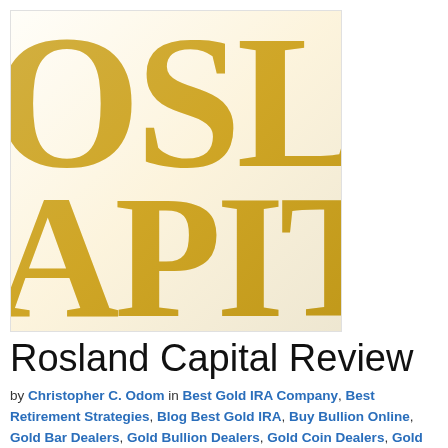[Figure (logo): Rosland Capital logo — large golden serif letters 'OSL' on top row and 'APIT' on bottom row, partially cropped, on white background with light border]
Rosland Capital Review
by Christopher C. Odom in Best Gold IRA Company, Best Retirement Strategies, Blog Best Gold IRA, Buy Bullion Online, Gold Bar Dealers, Gold Bullion Dealers, Gold Coin Dealers, Gold Investment Firms, Gold IRA Companies, Gold IRA Companies Reviews, Gold IRA Custodian, Gold IRA